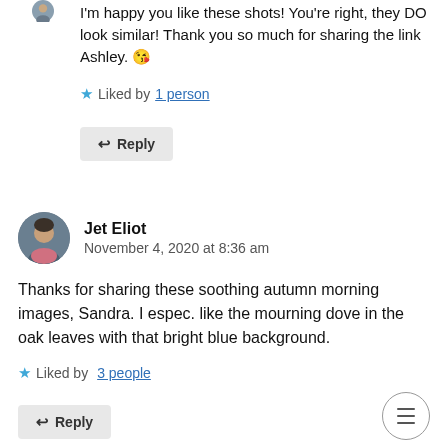I'm happy you like these shots! You're right, they DO look similar! Thank you so much for sharing the link Ashley. 😘
★ Liked by 1 person
↩ Reply
Jet Eliot
November 4, 2020 at 8:36 am
Thanks for sharing these soothing autumn morning images, Sandra. I espec. like the mourning dove in the oak leaves with that bright blue background.
★ Liked by 3 people
↩ Reply